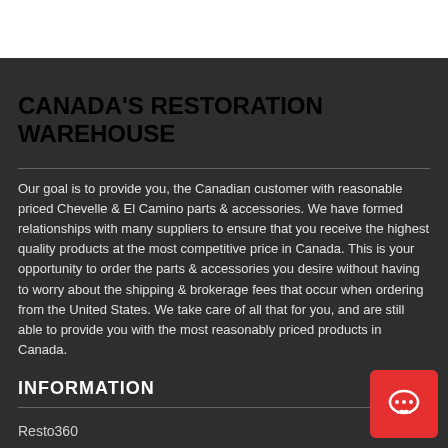CANADA'S RESTORATION WAREHOUSE
Our goal is to provide you, the Canadian customer with reasonable priced Chevelle & El Camino parts & accessories. We have formed relationships with many suppliers to ensure that you receive the highest quality products at the most competitive price in Canada. This is your opportunity to order the parts & accessories you desire without having to worry about the shipping & brokerage fees that occur when ordering from the United States. We take care of all that for you, and are still able to provide you with the most reasonably priced products in Canada.
INFORMATION
Resto360
Return Policy
Why buy Canadian?
About Us
Delivery Information
Privacy Policy
Terms & Conditions
[Figure (illustration): Red chat/speech bubble icon button in bottom right corner]